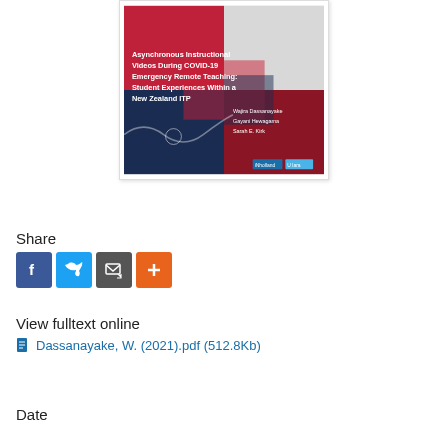[Figure (illustration): Book cover for 'Asynchronous Instructional Videos During COVID-19 Emergency Remote Teaching: Student Experiences Within a New Zealand ITP' by Wajira Dassanayake, Gayani Hewagama, Sarah E. Kirk. Cover has red, dark blue, and light gray sections with text overlaid.]
Share
[Figure (infographic): Row of four social sharing buttons: Facebook (blue f), Twitter (blue bird), Email/share (dark gray envelope with cursor), and Add/plus (orange plus sign).]
View fulltext online
Dassanayake, W. (2021).pdf (512.8Kb)
Date